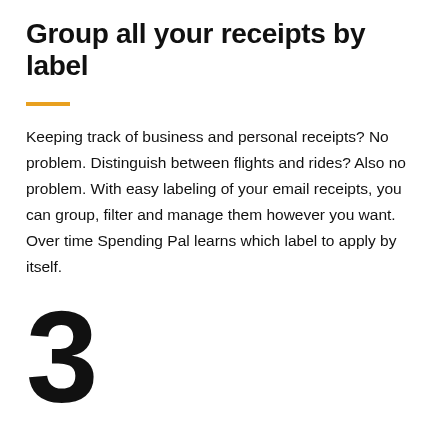Group all your receipts by label
Keeping track of business and personal receipts? No problem. Distinguish between flights and rides? Also no problem. With easy labeling of your email receipts, you can group, filter and manage them however you want. Over time Spending Pal learns which label to apply by itself.
3